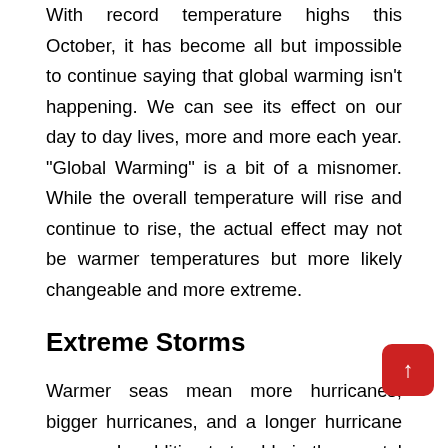With record temperature highs this October, it has become all but impossible to continue saying that global warming isn't happening. We can see its effect on our day to day lives, more and more each year. "Global Warming" is a bit of a misnomer. While the overall temperature will rise and continue to rise, the actual effect may not be warmer temperatures but more likely changeable and more extreme.
Extreme Storms
Warmer seas mean more hurricanes, bigger hurricanes, and a longer hurricane season. In addition to trouble in the coastal regions, it's likely to mean more unpredictable weather inland as well. Expect tornado damage and the need for hail repair Fort Worth or your area as storm systems become larger, more extreme, and more